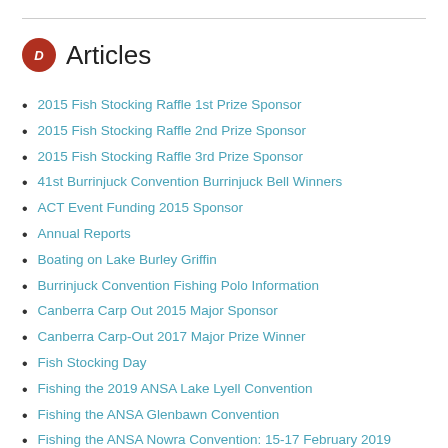Articles
2015 Fish Stocking Raffle 1st Prize Sponsor
2015 Fish Stocking Raffle 2nd Prize Sponsor
2015 Fish Stocking Raffle 3rd Prize Sponsor
41st Burrinjuck Convention Burrinjuck Bell Winners
ACT Event Funding 2015 Sponsor
Annual Reports
Boating on Lake Burley Griffin
Burrinjuck Convention Fishing Polo Information
Canberra Carp Out 2015 Major Sponsor
Canberra Carp-Out 2017 Major Prize Winner
Fish Stocking Day
Fishing the 2019 ANSA Lake Lyell Convention
Fishing the ANSA Glenbawn Convention
Fishing the ANSA Nowra Convention: 15-17 February 2019
Flathead the "F"asy Way